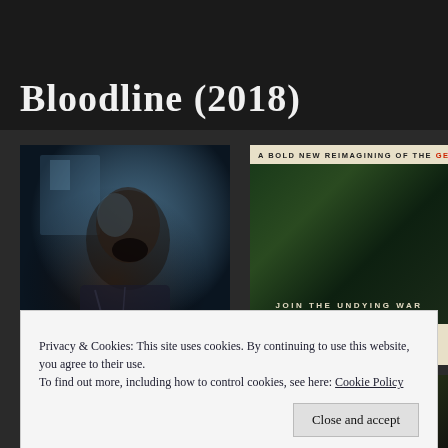Bloodline (2018)
[Figure (photo): Movie still from Bloodline (2018) showing a man screaming or grimacing in a dark, dramatic scene with blue-tinted lighting]
[Figure (photo): Movie poster/advertisement with cream background, text 'A BOLD NEW REIMAGINING OF THE GEO...' in bold caps with red highlight, and a dark green atmospheric image below with text 'JOIN THE UNDYING WAR']
What’s the worst that can happen? That is what
Privacy & Cookies: This site uses cookies. By continuing to use this website, you agree to their use.
To find out more, including how to control cookies, see here: Cookie Policy
Close and accept
Deep down, I knew…I